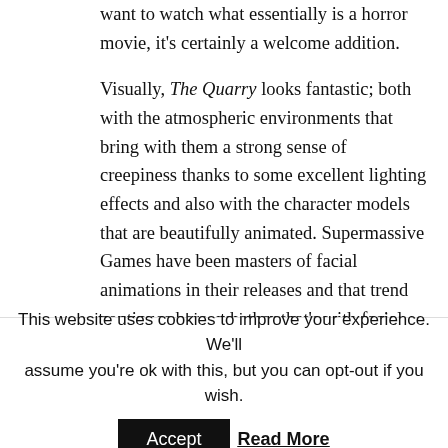want to watch what essentially is a horror movie, it's certainly a welcome addition.

Visually, The Quarry looks fantastic; both with the atmospheric environments that bring with them a strong sense of creepiness thanks to some excellent lighting effects and also with the character models that are beautifully animated. Supermassive Games have been masters of facial animations in their releases and that trend continues here, whether that's with facial movements when talking or their expressions when displaying emotions (which is more often than not dread). I did have a few occasions where pop-in occurred and camera could hinder some sequences when in more confined areas, but other than that The Quarry is a beautiful looking game.
This website uses cookies to improve your experience. We'll assume you're ok with this, but you can opt-out if you wish.
Accept  Read More